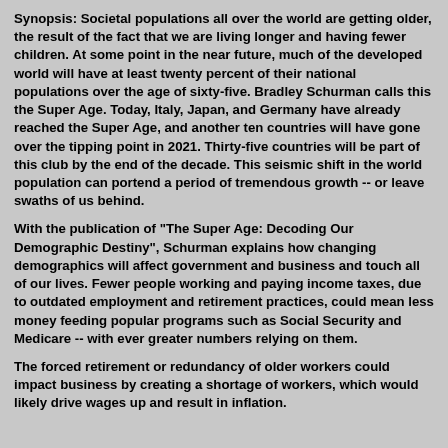Synopsis: Societal populations all over the world are getting older, the result of the fact that we are living longer and having fewer children. At some point in the near future, much of the developed world will have at least twenty percent of their national populations over the age of sixty-five. Bradley Schurman calls this the Super Age. Today, Italy, Japan, and Germany have already reached the Super Age, and another ten countries will have gone over the tipping point in 2021. Thirty-five countries will be part of this club by the end of the decade. This seismic shift in the world population can portend a period of tremendous growth -- or leave swaths of us behind.
With the publication of "The Super Age: Decoding Our Demographic Destiny", Schurman explains how changing demographics will affect government and business and touch all of our lives. Fewer people working and paying income taxes, due to outdated employment and retirement practices, could mean less money feeding popular programs such as Social Security and Medicare -- with ever greater numbers relying on them.
The forced retirement or redundancy of older workers could impact business by creating a shortage of workers, which would likely drive wages up and result in inflation.